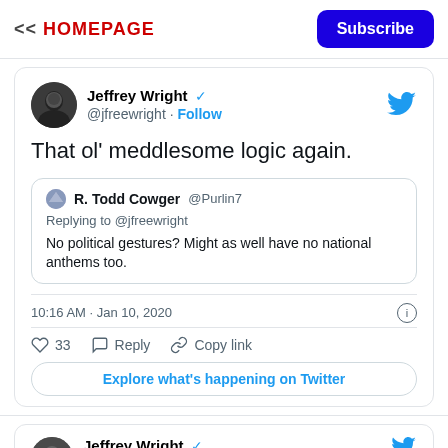<< HOMEPAGE  Subscribe
Jeffrey Wright @jfreewright · Follow
That ol' meddlesome logic again.
R. Todd Cowger @Purlin7
Replying to @jfreewright
No political gestures? Might as well have no national anthems too.
10:16 AM · Jan 10, 2020
33  Reply  Copy link
Explore what's happening on Twitter
Jeffrey Wright